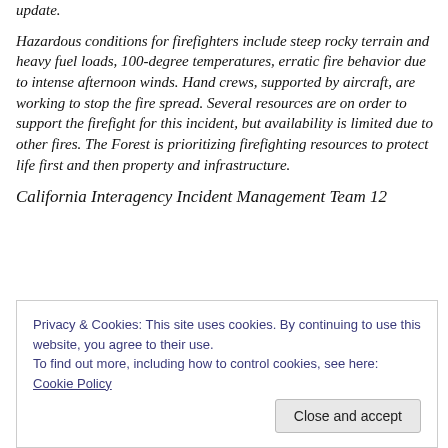update.
Hazardous conditions for firefighters include steep rocky terrain and heavy fuel loads, 100-degree temperatures, erratic fire behavior due to intense afternoon winds. Hand crews, supported by aircraft, are working to stop the fire spread. Several resources are on order to support the firefight for this incident, but availability is limited due to other fires. The Forest is prioritizing firefighting resources to protect life first and then property and infrastructure.
California Interagency Incident Management Team 12
Privacy & Cookies: This site uses cookies. By continuing to use this website, you agree to their use.
To find out more, including how to control cookies, see here: Cookie Policy
Close and accept